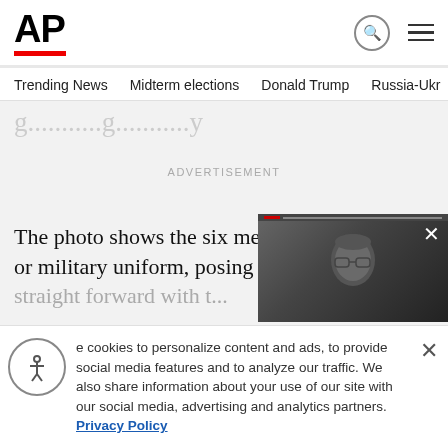AP
Trending News  Midterm elections  Donald Trump  Russia-Ukr
The photo shows the six men, all in dark suits or military uniform, posing for the ca...
[Figure (screenshot): AP News website screenshot with advertisement area, partial article text, video overlay of a person, and cookie consent banner]
e cookies to personalize content and ads, to provide social media features and to analyze our traffic. We also share information about your use of our site with our social media, advertising and analytics partners. Privacy Policy